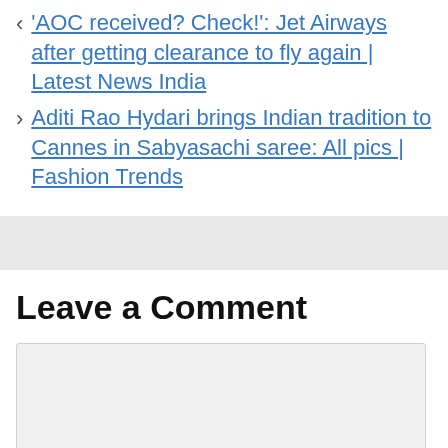< 'AOC received? Check!': Jet Airways after getting clearance to fly again | Latest News India
> Aditi Rao Hydari brings Indian tradition to Cannes in Sabyasachi saree: All pics | Fashion Trends
Leave a Comment